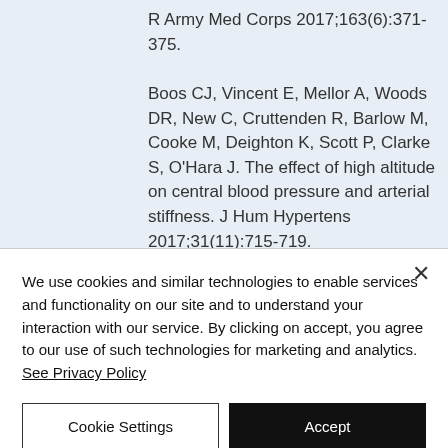R Army Med Corps 2017;163(6):371-375.
Boos CJ, Vincent E, Mellor A, Woods DR, New C, Cruttenden R, Barlow M, Cooke M, Deighton K, Scott P, Clarke S, O'Hara J. The effect of high altitude on central blood pressure and arterial stiffness. J Hum Hypertens 2017;31(11):715-719.
We use cookies and similar technologies to enable services and functionality on our site and to understand your interaction with our service. By clicking on accept, you agree to our use of such technologies for marketing and analytics. See Privacy Policy